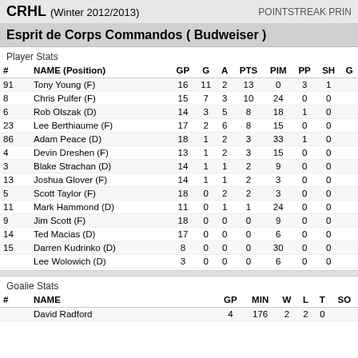CRHL (Winter 2012/2013) POINTSTREAK PRIN
Esprit de Corps Commandos ( Budweiser )
Player Stats
| # | NAME (Position) | GP | G | A | PTS | PIM | PP | SH | G |
| --- | --- | --- | --- | --- | --- | --- | --- | --- | --- |
| 91 | Tony Young (F) | 16 | 11 | 2 | 13 | 0 | 3 | 1 |  |
| 8 | Chris Pulfer (F) | 15 | 7 | 3 | 10 | 24 | 0 | 0 |  |
| 6 | Rob Olszak (D) | 14 | 3 | 5 | 8 | 18 | 1 | 0 |  |
| 23 | Lee Berthiaume (F) | 17 | 2 | 6 | 8 | 15 | 0 | 0 |  |
| 86 | Adam Peace (D) | 18 | 1 | 2 | 3 | 33 | 1 | 0 |  |
| 4 | Devin Dreshen (F) | 13 | 1 | 2 | 3 | 15 | 0 | 0 |  |
| 3 | Blake Strachan (D) | 14 | 1 | 1 | 2 | 9 | 0 | 0 |  |
| 13 | Joshua Glover (F) | 14 | 1 | 1 | 2 | 3 | 0 | 0 |  |
| 5 | Scott Taylor (F) | 18 | 0 | 2 | 2 | 3 | 0 | 0 |  |
| 11 | Mark Hammond (D) | 11 | 0 | 1 | 1 | 24 | 0 | 0 |  |
| 9 | Jim Scott (F) | 18 | 0 | 0 | 0 | 9 | 0 | 0 |  |
| 14 | Ted Macias (D) | 17 | 0 | 0 | 0 | 6 | 0 | 0 |  |
| 15 | Darren Kudrinko (D) | 8 | 0 | 0 | 0 | 30 | 0 | 0 |  |
|  | Lee Wolowich (D) | 3 | 0 | 0 | 0 | 6 | 0 | 0 |  |
Goalie Stats
| # | NAME | GP | MIN | W | L | T | SO |
| --- | --- | --- | --- | --- | --- | --- | --- |
|  | David Radford | 4 | 176 | 2 | 2 | 0 |  |